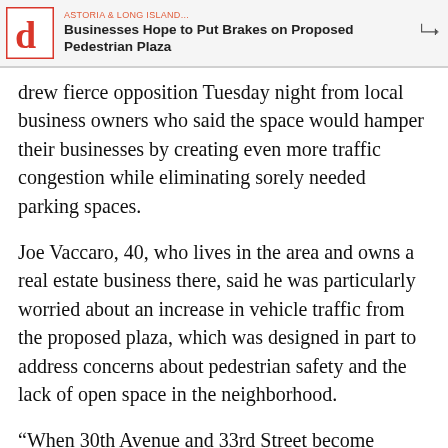Businesses Hope to Put Brakes on Proposed Pedestrian Plaza
drew fierce opposition Tuesday night from local business owners who said the space would hamper their businesses by creating even more traffic congestion while eliminating sorely needed parking spaces.
Joe Vaccaro, 40, who lives in the area and owns a real estate business there, said he was particularly worried about an increase in vehicle traffic from the proposed plaza, which was designed in part to address concerns about pedestrian safety and the lack of open space in the neighborhood.
“When 30th Avenue and 33rd Street become congested, Newtown Avenue alleviates the traffic,” he said, adding